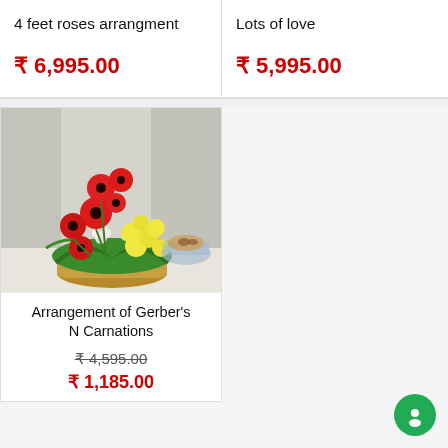4 feet roses arrangment
₹ 6,995.00
Lots of love
₹ 5,995.00
[Figure (photo): Flower arrangement of red gerberas and yellow carnations in a basket]
Arrangement of Gerber's N Carnations
₹ 4,595.00 (strikethrough)
₹ 1,185.00